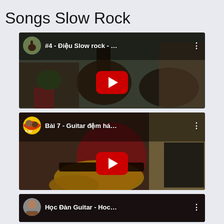Songs Slow Rock
[Figure (screenshot): YouTube video thumbnail showing a person playing guitar with YouTube play button overlay. Title: #4 - Điệu Slow rock - ...]
[Figure (screenshot): YouTube video thumbnail showing a person in red shirt playing acoustic guitar with YouTube play button overlay. Title: Bài 7 - Guitar đệm há...]
[Figure (screenshot): YouTube video thumbnail partially visible showing a person playing guitar. Title: Học Đàn Guitar - Hoc...]